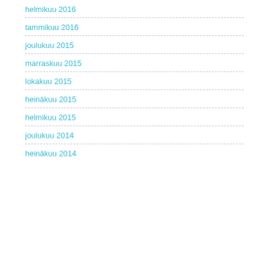helmikuu 2016
tammikuu 2016
joulukuu 2015
marraskuu 2015
lokakuu 2015
heinäkuu 2015
helmikuu 2015
joulukuu 2014
heinäkuu 2014